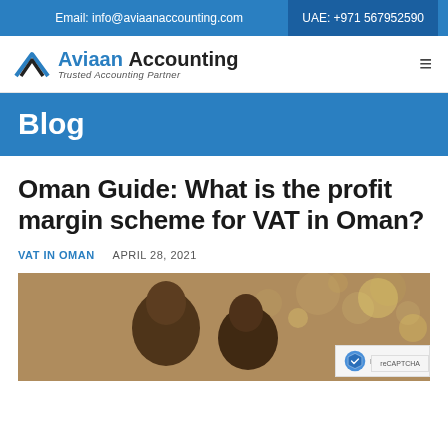Email: info@aviaanaccounting.com   UAE: +971 567952590
[Figure (logo): Aviaan Accounting logo with chevron/mountain mark and tagline 'Trusted Accounting Partner']
Blog
Oman Guide: What is the profit margin scheme for VAT in Oman?
VAT IN OMAN   APRIL 28, 2021
[Figure (photo): Two men in conversation, interior setting with decorative hanging lights in background]